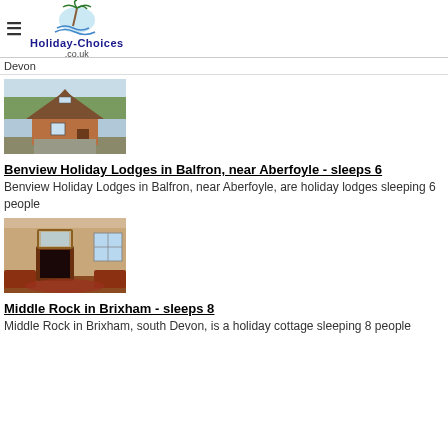Holiday-Choices.co.uk
Devon
[Figure (photo): Exterior photo of a wooden holiday lodge with a pitched roof, set in a grassy field]
Benview Holiday Lodges in Balfron, near Aberfoyle - sleeps 6
Benview Holiday Lodges in Balfron, near Aberfoyle, are holiday lodges sleeping 6 people
[Figure (photo): Interior photo of a holiday cottage showing a living room with fireplace, mirror, and furniture]
Middle Rock in Brixham - sleeps 8
Middle Rock in Brixham, south Devon, is a holiday cottage sleeping 8 people